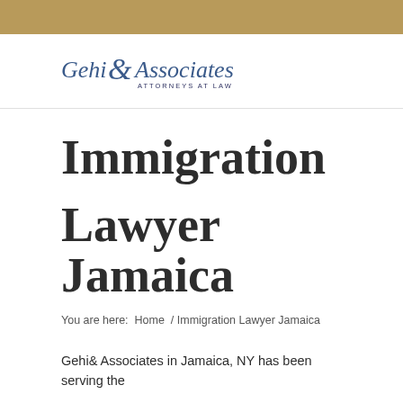[Figure (logo): Gehi & Associates Attorneys at Law logo with stylized ampersand in blue/navy]
Immigration Lawyer Jamaica
You are here:  Home  /  Immigration Lawyer Jamaica
Gehi& Associates in Jamaica, NY has been serving the